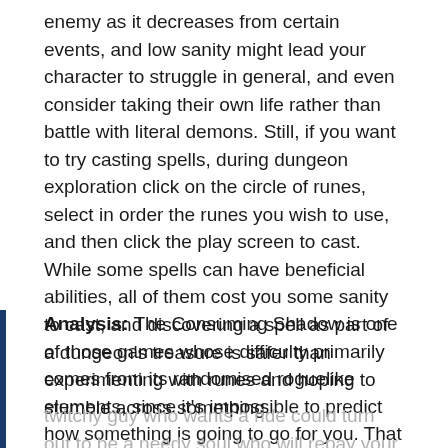enemy as it decreases from certain events, and low sanity might lead your character to struggle in general, and even consider taking their own life rather than battle with literal demons. Still, if you want to try casting spells, during dungeon exploration click on the circle of runes, select in order the runes you wish to use, and then click the play screen to cast. While some spells can have beneficial abilities, all of them cost you some sanity to cast, and discovering a spell as part of a dungeon's treasure is safer than experimenting with runes and hoping to stumble across something.
Analysis: The Consuming Shadow is one of those games whose difficulty primarily comes from its randomised roguelike elements, since it's impossible to predict how something is going to go for you. That
twitchy guy who wants a ride could turn out to be a needy soul who will repay your kindness, or he could